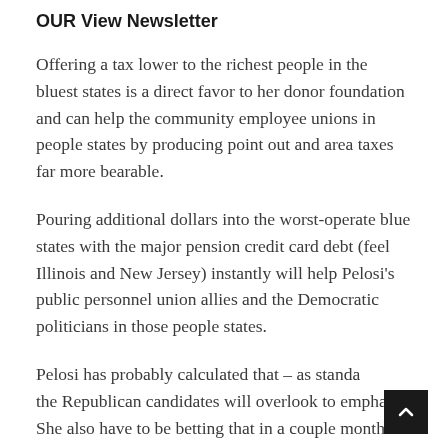OUR View Newsletter
Offering a tax lower to the richest people in the bluest states is a direct favor to her donor foundation and can help the community employee unions in people states by producing point out and area taxes far more bearable.
Pouring additional dollars into the worst-operate blue states with the major pension credit card debt (feel Illinois and New Jersey) instantly will help Pelosi's public personnel union allies and the Democratic politicians in those people states.
Pelosi has probably calculated that – as standard the Republican candidates will overlook to emphasis. She also have to be betting that in a couple months